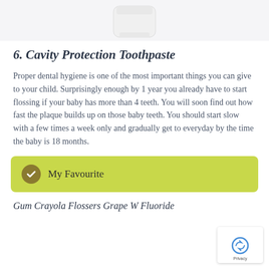[Figure (photo): Partial view of a white cylindrical product container (toothpaste) against a light grey background]
6. Cavity Protection Toothpaste
Proper dental hygiene is one of the most important things you can give to your child. Surprisingly enough by 1 year you already have to start flossing if your baby has more than 4 teeth. You will soon find out how fast the plaque builds up on those baby teeth. You should start slow with a few times a week only and gradually get to everyday by the time the baby is 18 months.
My Favourite
Gum Crayola Flossers Grape W Fluoride